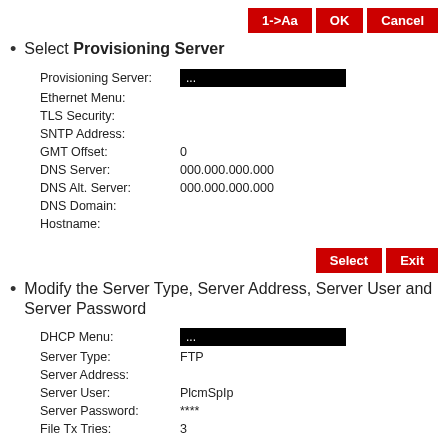[Figure (screenshot): Three red buttons: 1->Aa, OK, Cancel]
Select Provisioning Server
| Provisioning Server: | ... |
| Ethernet Menu: |  |
| TLS Security: |  |
| SNTP Address: |  |
| GMT Offset: | 0 |
| DNS Server: | 000.000.000.000 |
| DNS Alt. Server: | 000.000.000.000 |
| DNS Domain: |  |
| Hostname: |  |
[Figure (screenshot): Two red buttons: Select, Exit]
Modify the Server Type, Server Address, Server User and Server Password
| DHCP Menu: | ... |
| Server Type: | FTP |
| Server Address: |  |
| Server User: | PlcmSpIp |
| Server Password: | **** |
| File Tx Tries: | 3 |